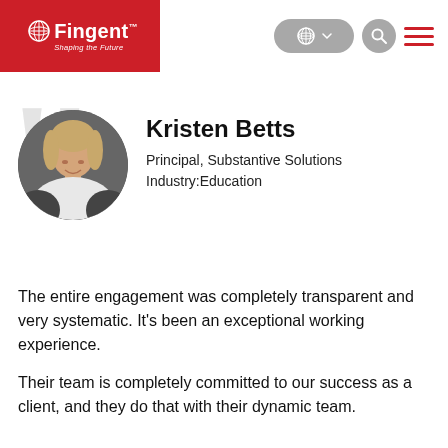[Figure (logo): Fingent logo - red background with globe icon and text 'Fingent™ Shaping the Future']
[Figure (photo): Circular portrait photo of Kristen Betts, a woman with blonde hair wearing a white jacket]
Kristen Betts
Principal, Substantive Solutions
Industry:Education
The entire engagement was completely transparent and very systematic. It's been an exceptional working experience.
Their team is completely committed to our success as a client, and they do that with their dynamic team.